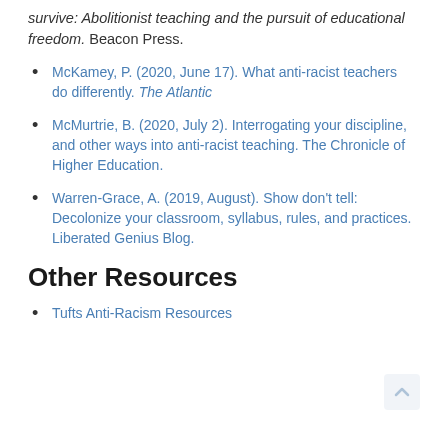survive: Abolitionist teaching and the pursuit of educational freedom. Beacon Press.
McKamey, P. (2020, June 17). What anti-racist teachers do differently. The Atlantic
McMurtrie, B. (2020, July 2). Interrogating your discipline, and other ways into anti-racist teaching. The Chronicle of Higher Education.
Warren-Grace, A. (2019, August). Show don't tell: Decolonize your classroom, syllabus, rules, and practices. Liberated Genius Blog.
Other Resources
Tufts Anti-Racism Resources